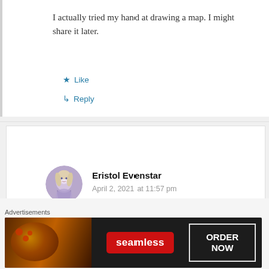I actually tried my hand at drawing a map. I might share it later.
★ Like
↳ Reply
Eristol Evenstar
April 2, 2021 at 11:57 pm
I updated it now, hope it helps.
[Figure (photo): Circular avatar image showing an illustrated character with light hair against a purple/blue background]
Advertisements
[Figure (screenshot): Seamless food delivery advertisement banner with pizza image on left, Seamless red logo in center, and ORDER NOW button on right against dark background]